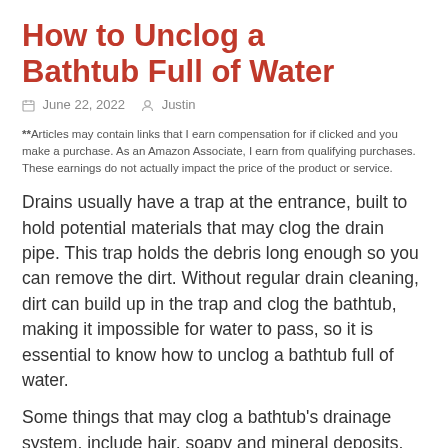How to Unclog a Bathtub Full of Water
June 22, 2022   Justin
**Articles may contain links that I earn compensation for if clicked and you make a purchase. As an Amazon Associate, I earn from qualifying purchases. These earnings do not actually impact the price of the product or service.
Drains usually have a trap at the entrance, built to hold potential materials that may clog the drain pipe. This trap holds the debris long enough so you can remove the dirt. Without regular drain cleaning, dirt can build up in the trap and clog the bathtub, making it impossible for water to pass, so it is essential to know how to unclog a bathtub full of water.
Some things that may clog a bathtub's drainage system, include hair, soapy and mineral deposits, and